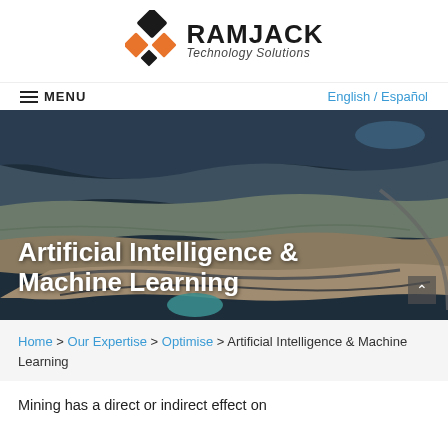[Figure (logo): Ramjack Technology Solutions logo with diamond/rhombus icon in black and orange and bold company name]
≡ MENU  English / Español
[Figure (photo): Aerial view of an open-pit mine with terraced levels, roads, and a teal-colored pond at the bottom]
Artificial Intelligence & Machine Learning
Home > Our Expertise > Optimise > Artificial Intelligence & Machine Learning
Mining has a direct or indirect effect on